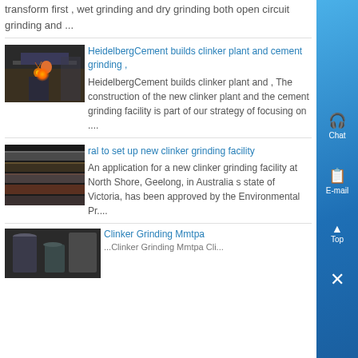transform first , wet grinding and dry grinding both open circuit grinding and ...
[Figure (photo): Industrial welding/cutting machine in a factory setting with orange sparks]
HeidelbergCement builds clinker plant and cement grinding ,
HeidelbergCement builds clinker plant and , The construction of the new clinker plant and the cement grinding facility is part of our strategy of focusing on ....
[Figure (photo): Metal plates or sheets stacked in industrial setting]
ral to set up new clinker grinding facility
An application for a new clinker grinding facility at North Shore, Geelong, in Australia s state of Victoria, has been approved by the Environmental Pr....
[Figure (photo): Factory interior with machinery and equipment]
Clinker Grinding Mmtpa